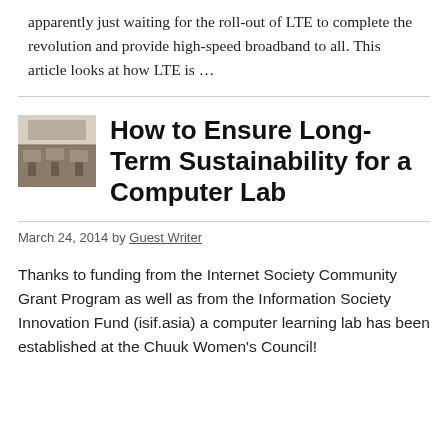apparently just waiting for the roll-out of LTE to complete the revolution and provide high-speed broadband to all. This article looks at how LTE is …
[Figure (photo): Thumbnail image of a computer lab room with chairs and tables]
How to Ensure Long-Term Sustainability for a Computer Lab
March 24, 2014 by Guest Writer
Thanks to funding from the Internet Society Community Grant Program as well as from the Information Society Innovation Fund (isif.asia) a computer learning lab has been established at the Chuuk Women's Council!